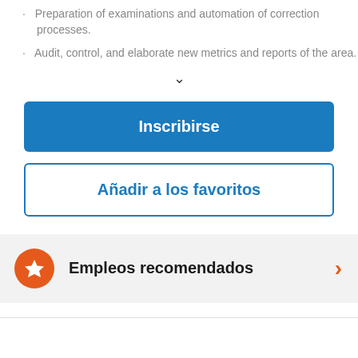Preparation of examinations and automation of correction processes.
Audit, control, and elaborate new metrics and reports of the area.
Inscribirse
Añadir a los favoritos
Empleos recomendados